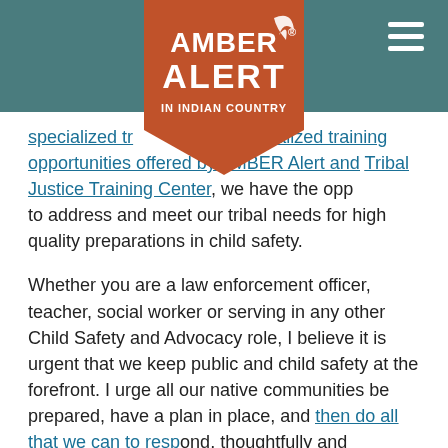[Figure (logo): AMBER Alert In Indian Country logo — rust/terracotta shield/pentagon shape with white text 'AMBER ALERT IN INDIAN COUNTRY' and a registered trademark symbol, overlaid on a teal navigation bar with a hamburger menu icon on the right.]
specialized training opportunities offered by AMBER Alert and the Tribal Justice Training Center, we have the opportunity to address and meet our tribal needs for high quality preparations in child safety.
Whether you are a law enforcement officer, teacher, social worker or serving in any other Child Safety and Advocacy role, I believe it is urgent that we keep public and child safety at the forefront. I urge all our native communities be prepared, have a plan in place, and then do all that we can to respond, thoughtfully and thoroughly, to the pending unnatural disasters that seem to be occurring more often than we would like. I urge everyone to obtain the appropriate training(s) and have your responses at the ready to address the unnatural